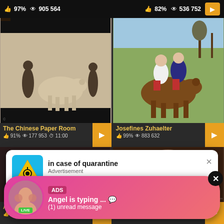[Figure (screenshot): Adult video platform screenshot with thumbnails, stats, and advertisement overlays. Top row shows two video thumbnails with stats bars showing 97%/905564 views and 82%/536752 views. Middle row shows 'The Chinese Paper Room' (91%, 177953 views, 11:00) and 'Josefines Zuhaelter' (99%, 883632 views). Overlaid ads: quarantine advertisement popup and messaging app ad showing 'Angel is typing... (1) unread message'. Bottom row shows 'Alessandra' (91%, 292118 views, 15:00) and another video (90%, 411637 views, 13:00).]